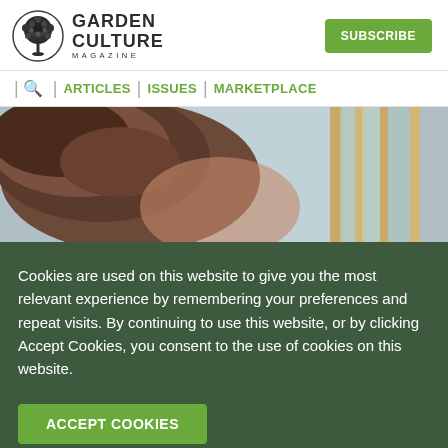[Figure (logo): Garden Culture Magazine logo with decorative tree icon on the left and text GARDEN CULTURE MAGAZINE on the right]
[Figure (other): Subscribe button - green rounded rectangle with white bold text SUBSCRIBE]
| Q | ARTICLES | ISSUES | MARKETPLACE
[Figure (photo): Close-up photo of a person's forehead/hair with a greenhouse or similar structure visible in the background]
Cookies are used on this website to give you the most relevant experience by remembering your preferences and repeat visits. By continuing to use this website, or by clicking Accept Cookies, you consent to the use of cookies on this website.
[Figure (other): ACCEPT COOKIES button - green rounded rectangle with white bold uppercase text]